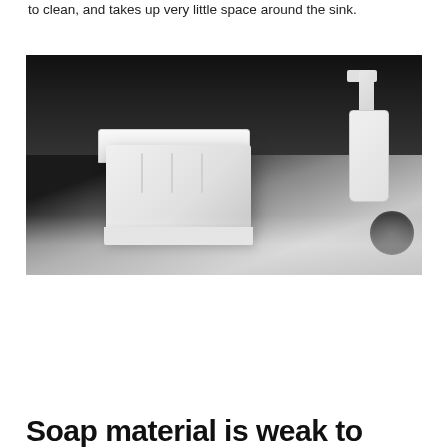to clean, and takes up very little space around the sink.
[Figure (photo): White rectangular soap dish/holder with ridged interior sitting on a sink countertop, with a white soap dispenser bottle visible in the upper right. Dark background behind, light countertop surface below.]
Soap material is weak to